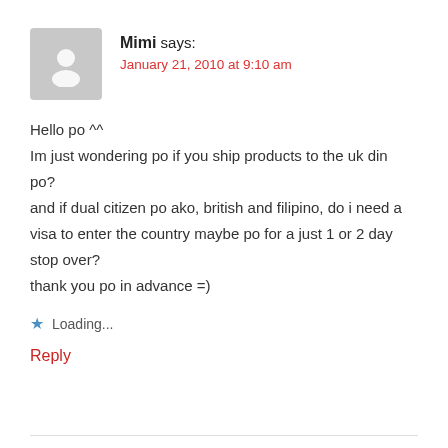Mimi says:
January 21, 2010 at 9:10 am
Hello po ^^
Im just wondering po if you ship products to the uk din po?
and if dual citizen po ako, british and filipino, do i need a visa to enter the country maybe po for a just 1 or 2 day stop over?
thank you po in advance =)
Loading...
Reply